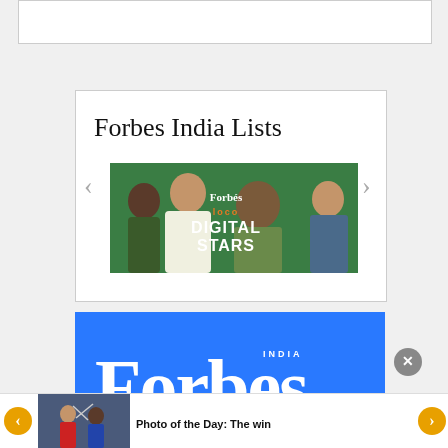[Figure (screenshot): Top white bar/header area of a webpage]
Forbes India Lists
[Figure (screenshot): Forbes India Digital Stars promotional banner with people on green background, inside a carousel card with left/right navigation arrows]
[Figure (screenshot): Forbes India logo on blue background - large white Forbes text with INDIA above]
[Figure (photo): Photo of the Day: The win - badminton players photo thumbnail at bottom of page]
Photo of the Day: The win